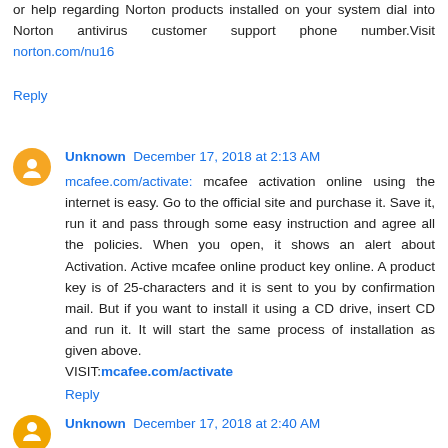or help regarding Norton products installed on your system dial into Norton antivirus customer support phone number.Visit norton.com/nu16
Reply
Unknown  December 17, 2018 at 2:13 AM
mcafee.com/activate: mcafee activation online using the internet is easy. Go to the official site and purchase it. Save it, run it and pass through some easy instruction and agree all the policies. When you open, it shows an alert about Activation. Active mcafee online product key online. A product key is of 25-characters and it is sent to you by confirmation mail. But if you want to install it using a CD drive, insert CD and run it. It will start the same process of installation as given above. VISIT:mcafee.com/activate
Reply
Unknown  December 17, 2018 at 2:40 AM